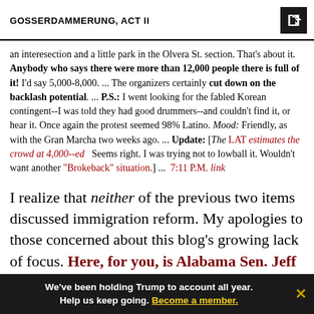GOSSERDAMMERUNG, ACT II
an interesection and a little park in the Olvera St. section. That's about it. Anybody who says there were more than 12,000 people there is full of it! I'd say 5,000-8,000. ... The organizers certainly cut down on the backlash potential. ... P.S.: I went looking for the fabled Korean contingent--I was told they had good drummers--and couldn't find it, or hear it. Once again the protest seemed 98% Latino. Mood: Friendly, as with the Gran Marcha two weeks ago. ... Update: [The LAT estimates the crowd at 4,000--ed   Seems right. I was trying not to lowball it. Wouldn't want another "Brokeback" situation.] ...  7:11 P.M. link
I realize that neither of the previous two items discussed immigration reform. My apologies to those concerned about this blog's growing lack of focus. Here, for you, is Alabama Sen. Jeff Sessions instant analysis of why the fabled,
We've been holding Trump to account all year. Help us keep going. Become a member.